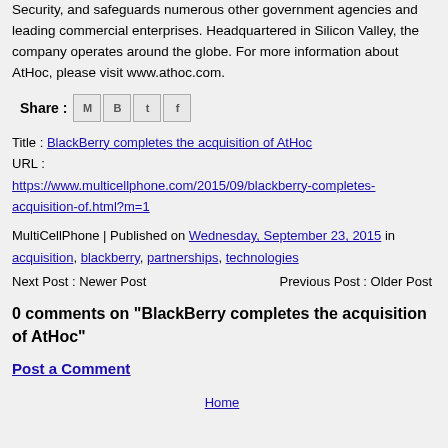Security, and safeguards numerous other government agencies and leading commercial enterprises. Headquartered in Silicon Valley, the company operates around the globe. For more information about AtHoc, please visit www.athoc.com.
Share : [email icon][blogger icon][twitter icon][facebook icon]
Title : BlackBerry completes the acquisition of AtHoc
URL : https://www.multicellphone.com/2015/09/blackberry-completes-acquisition-of.html?m=1
MultiCellPhone | Published on Wednesday, September 23, 2015 in acquisition, blackberry, partnerships, technologies
Next Post : Newer Post      Previous Post : Older Post
0 comments on "BlackBerry completes the acquisition of AtHoc"
Post a Comment
Home